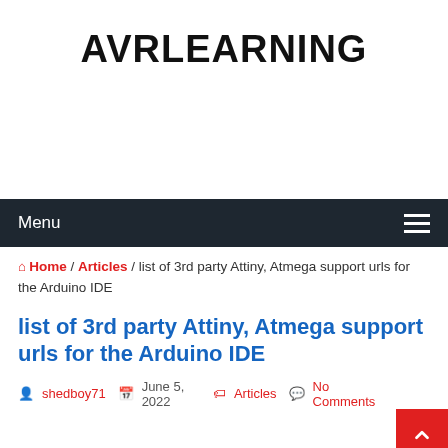AVRLEARNING
Menu
Home / Articles / list of 3rd party Attiny, Atmega support urls for the Arduino IDE
list of 3rd party Attiny, Atmega support urls for the Arduino IDE
shedboy71   June 5, 2022   Articles   No Comments